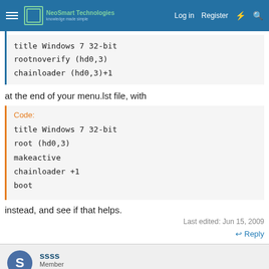NeoSmart Technologies — Log in | Register
title Windows 7 32-bit
rootnoverify (hd0,3)
chainloader (hd0,3)+1
at the end of your menu.lst file, with
Code:
title Windows 7 32-bit
root (hd0,3)
makeactive
chainloader +1
boot
instead, and see if that helps.
Last edited: Jun 15, 2009
↩ Reply
ssss
Member